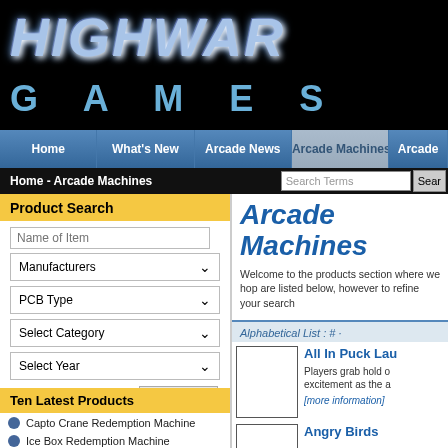[Figure (logo): Highway Games logo with stylized blue text on black background]
Home | What's New | Arcade News | Arcade Machines | Arcade
Home - Arcade Machines | Search Terms | Sear
Product Search
Name of Item
Manufacturers
PCB Type
Select Category
Select Year
Search
Ten Latest Products
Capto Crane Redemption Machine
Ice Box Redemption Machine
Arcade Machines
Welcome to the products section where we hop are listed below, however to refine your search
Alphabetical List : # ·
[Figure (photo): Product image placeholder box for All In Puck Launcher]
All In Puck Lau
Players grab hold o excitement as the a
[more information]
[Figure (photo): Product image placeholder box for Angry Birds]
Angry Birds